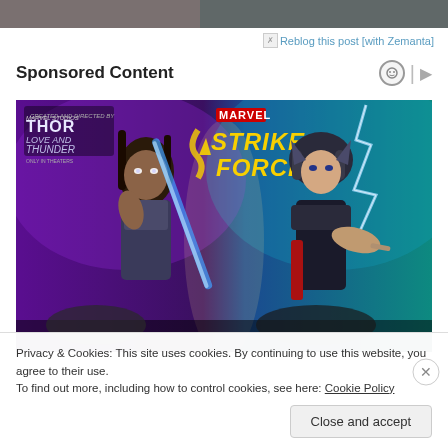[Figure (photo): Partial view of a photo at the top of the page, cropped.]
Reblog this post [with Zemanta]
Sponsored Content
[Figure (illustration): Marvel Strike Force promotional image featuring two female characters from Thor: Love and Thunder. Left character holds a glowing blue sword against a purple background; right character in Thor helmet summons lightning against a teal background. THOR LOVE AND THUNDER and MARVEL Strike Force logos visible.]
Privacy & Cookies: This site uses cookies. By continuing to use this website, you agree to their use.
To find out more, including how to control cookies, see here: Cookie Policy
Close and accept